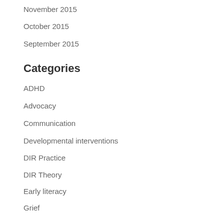November 2015
October 2015
September 2015
Categories
ADHD
Advocacy
Communication
Developmental interventions
DIR Practice
DIR Theory
Early literacy
Grief
Neurodiversity
Parent Support